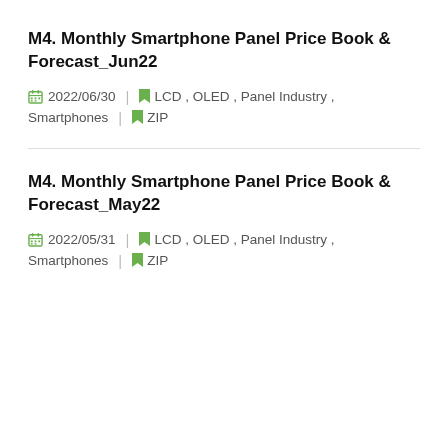M4. Monthly Smartphone Panel Price Book & Forecast_Jun22
2022/06/30  |  LCD , OLED , Panel Industry , Smartphones  |  ZIP
M4. Monthly Smartphone Panel Price Book & Forecast_May22
2022/05/31  |  LCD , OLED , Panel Industry , Smartphones  |  ZIP